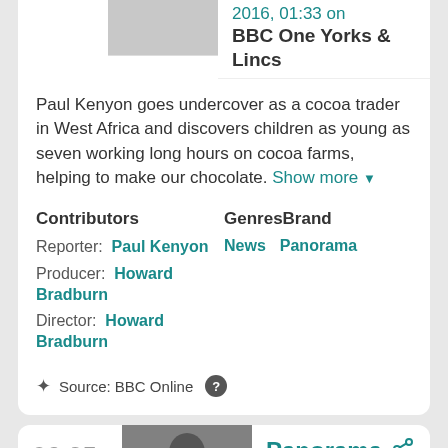2016, 01:33 on BBC One Yorks & Lincs
Paul Kenyon goes undercover as a cocoa trader in West Africa and discovers children as young as seven working long hours on cocoa farms, helping to make our chocolate. Show more
Contributors
GenresBrand
Reporter: Paul Kenyon
News   Panorama
Producer: Howard Bradburn
Director: Howard Bradburn
Source: BBC Online
02:35
[Figure (photo): Photo of a person (woman) used as thumbnail for Panorama programme]
Panorama
Demand to Kill...